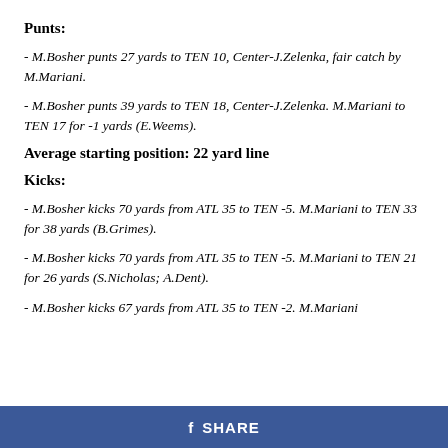Punts:
- M.Bosher punts 27 yards to TEN 10, Center-J.Zelenka, fair catch by M.Mariani.
- M.Bosher punts 39 yards to TEN 18, Center-J.Zelenka. M.Mariani to TEN 17 for -1 yards (E.Weems).
Average starting position: 22 yard line
Kicks:
- M.Bosher kicks 70 yards from ATL 35 to TEN -5. M.Mariani to TEN 33 for 38 yards (B.Grimes).
- M.Bosher kicks 70 yards from ATL 35 to TEN -5. M.Mariani to TEN 21 for 26 yards (S.Nicholas; A.Dent).
- M.Bosher kicks 67 yards from ATL 35 to TEN -2. M.Mariani
f SHARE